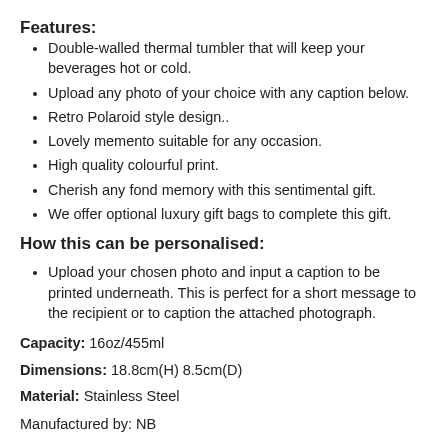Features:
Double-walled thermal tumbler that will keep your beverages hot or cold.
Upload any photo of your choice with any caption below.
Retro Polaroid style design..
Lovely memento suitable for any occasion.
High quality colourful print.
Cherish any fond memory with this sentimental gift.
We offer optional luxury gift bags to complete this gift.
How this can be personalised:
Upload your chosen photo and input a caption to be printed underneath. This is perfect for a short message to the recipient or to caption the attached photograph.
Capacity: 16oz/455ml
Dimensions: 18.8cm(H) 8.5cm(D)
Material: Stainless Steel
Manufactured by: NB